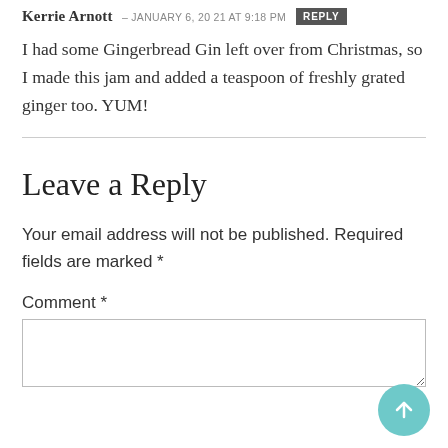Kerrie Arnott – JANUARY 6, 2021 at 9:18 PM   REPLY
I had some Gingerbread Gin left over from Christmas, so I made this jam and added a teaspoon of freshly grated ginger too. YUM!
Leave a Reply
Your email address will not be published. Required fields are marked *
Comment *